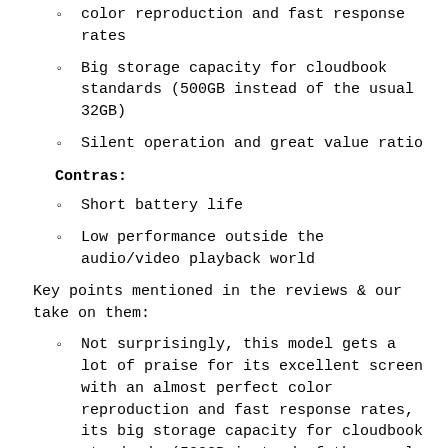color reproduction and fast response rates
Big storage capacity for cloudbook standards (500GB instead of the usual 32GB)
Silent operation and great value ratio
Contras:
Short battery life
Low performance outside the audio/video playback world
Key points mentioned in the reviews & our take on them:
Not surprisingly, this model gets a lot of praise for its excellent screen with an almost perfect color reproduction and fast response rates, its big storage capacity for cloudbook standards (500GB instead of the usual 32GB), silent operation and great value ratio.
This model got some criticism for its short